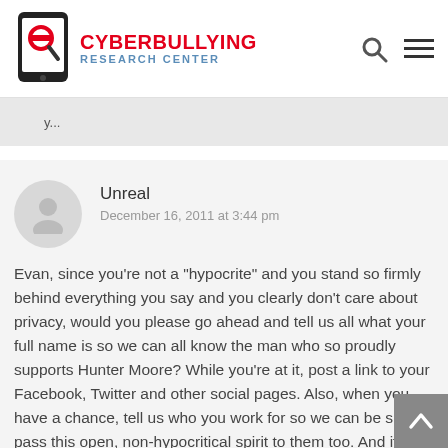CYBERBULLYING RESEARCH CENTER
Unreal
December 16, 2011 at 3:44 pm
Evan, since you're not a "hypocrite" and you stand so firmly behind everything you say and you clearly don't care about privacy, would you please go ahead and tell us all what your full name is so we can all know the man who so proudly supports Hunter Moore? While you're at it, post a link to your Facebook, Twitter and other social pages. Also, when you have a chance, tell us who you work for so we can be sure to pass this open, non-hypocritical spirit to them too. And if you don't